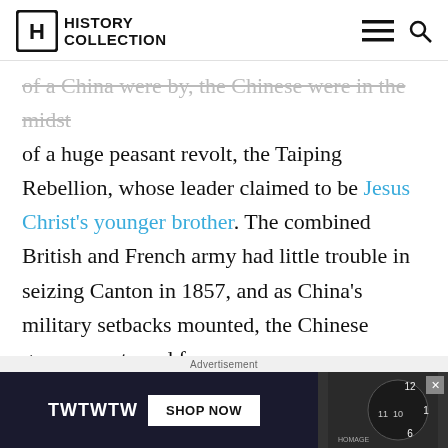HISTORY COLLECTION
of a huge peasant revolt, the Taiping Rebellion, whose leader claimed to be Jesus Christ's younger brother. The combined British and French army had little trouble in seizing Canton in 1857, and as China's military setbacks mounted, the Chinese government sued for peace.
When talks broke down, the invaders sailed to
Advertisement